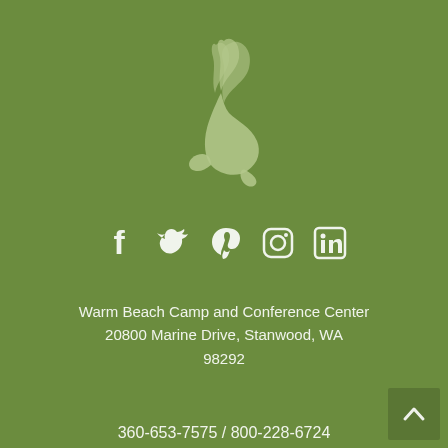[Figure (logo): Warm Beach Camp and Conference Center logo — a stylized white bird/flame shape on green background]
[Figure (infographic): Social media icons row: Facebook, Twitter, Pinterest, Instagram, LinkedIn — white icons on green background]
Warm Beach Camp and Conference Center
20800 Marine Drive, Stanwood, WA 98292
360-653-7575 / 800-228-6724